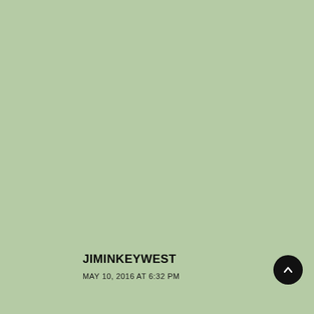[Figure (illustration): Solid sage green background filling the entire page area]
JIMINKEYWEST
MAY 10, 2016 AT 6:32 PM